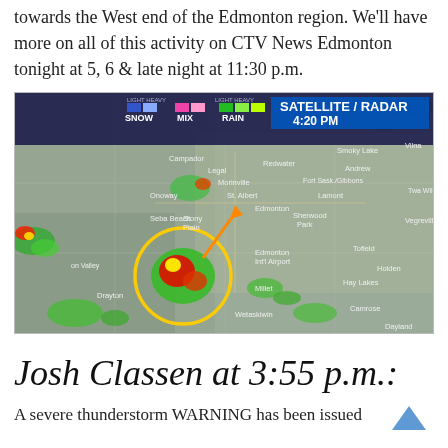towards the West end of the Edmonton region. We'll have more on all of this activity on CTV News Edmonton tonight at 5, 6 & late night at 11:30 p.m.
[Figure (screenshot): Satellite/Radar map showing storm activity near Edmonton region at 4:20 PM. Legend shows SNOW, MIX, RAIN indicators. A yellow circle highlights a storm cell south-west of Edmonton near Millet. An orange arrow points northeast toward Edmonton. Various town names visible including Legal, Morinville, St. Albert, Edmonton, Sherwood Park, Stony Plain, Seba Beach, Hay Lakes, Camrose, Wetaskiwin, Vegreville, Holden, Tofield, Smoky Lake, Vilna, Andrew, Peers, Devon Valley, Drayton, Dayland.]
Josh Classen at 3:55 p.m.:
A severe thunderstorm WARNING has been issued